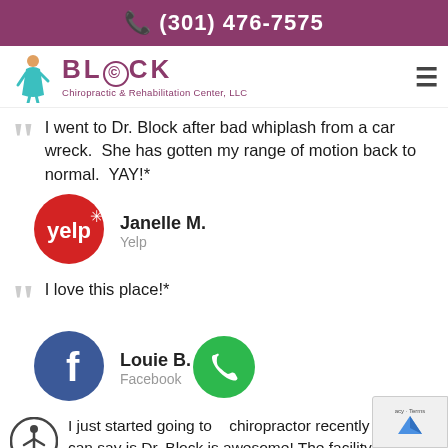(301) 476-7575
[Figure (logo): Block Chiropractic & Rehabilitation Center, LLC logo with stylized figure]
I went to Dr. Block after bad whiplash from a car wreck.  She has gotten my range of motion back to normal.  YAY!*
[Figure (logo): Yelp logo - red circle with white yelp text and burst]
Janelle M.
Yelp
I love this place!*
[Figure (logo): Facebook logo - blue circle with white f]
Louie B.
Facebook
I just started going to a chiropractor recently and all I can say is Dr. Block is awesome! The facility is nice and the staff are very friendly...